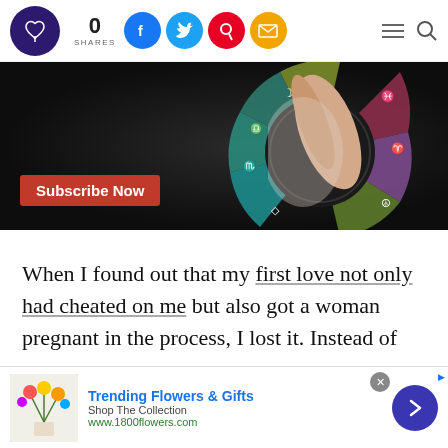0 SHARES — social share bar with Facebook, Twitter, Pinterest, Email icons plus hamburger menu and search
[Figure (illustration): Zodiac wheel with colorful segments and a hand pointing finger toward it, with a red Subscribe Now button overlay]
When I found out that my first love not only had cheated on me but also got a woman pregnant in the process, I lost it. Instead of
[Figure (infographic): Advertisement: Trending Flowers & Gifts — Shop The Collection — www.1800flowers.com — with flower image and navigation arrow button]